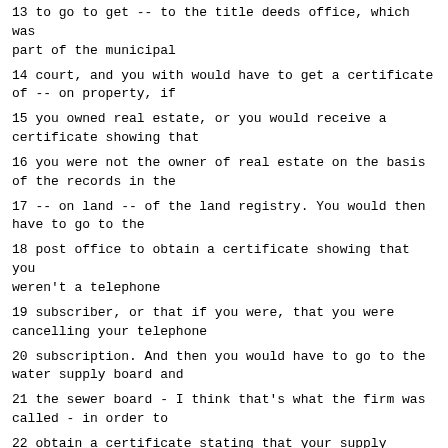13 to go to get -- to the title deeds office, which was part of the municipal
14 court, and you with would have to get a certificate of -- on property, if
15 you owned real estate, or you would receive a certificate showing that
16 you were not the owner of real estate on the basis of the records in the
17 -- on land -- of the land registry. You would then have to go to the
18 post office to obtain a certificate showing that you weren't a telephone
19 subscriber, or that if you were, that you were cancelling your telephone
20 subscription. And then you would have to go to the water supply board and
21 the sewer board - I think that's what the firm was called - in order to
22 obtain a certificate stating that your supply system was being cancelled,
23 and that the refuse collection was being cancelled. You would then have